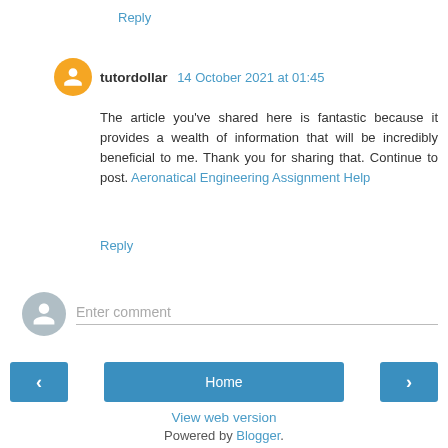Reply
tutordollar  14 October 2021 at 01:45
The article you've shared here is fantastic because it provides a wealth of information that will be incredibly beneficial to me. Thank you for sharing that. Continue to post. Aeronatical Engineering Assignment Help
Reply
Enter comment
Home
View web version
Powered by Blogger.